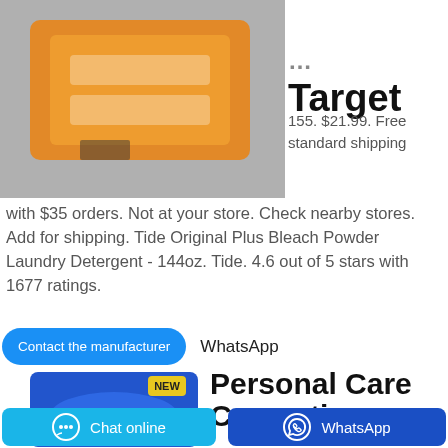[Figure (photo): Orange packaged Tide laundry detergent powder product photo on grey background]
Target
155. $21.99. Free standard shipping with $35 orders. Not at your store. Check nearby stores. Add for shipping. Tide Original Plus Bleach Powder Laundry Detergent - 144oz. Tide. 4.6 out of 5 stars with 1677 ratings.
Contact the manufacturer
WhatsApp
[Figure (photo): TOBY Extra Perfumed laundry detergent product with NEW label on blue background]
Personal Care Cosmetic
Chat online
WhatsApp